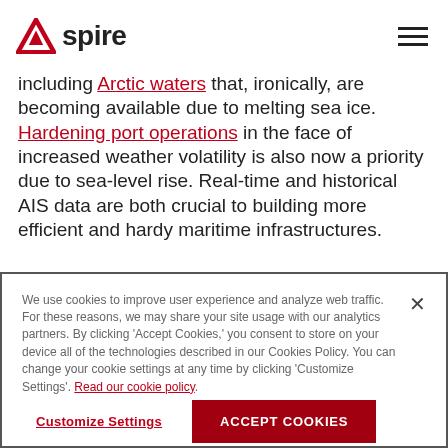Spire
including Arctic waters that, ironically, are becoming available due to melting sea ice. Hardening port operations in the face of increased weather volatility is also now a priority due to sea-level rise. Real-time and historical AIS data are both crucial to building more efficient and hardy maritime infrastructures.
We use cookies to improve user experience and analyze web traffic. For these reasons, we may share your site usage with our analytics partners. By clicking 'Accept Cookies,' you consent to store on your device all of the technologies described in our Cookies Policy. You can change your cookie settings at any time by clicking 'Customize Settings'. Read our cookie policy
Customize Settings | ACCEPT COOKIES